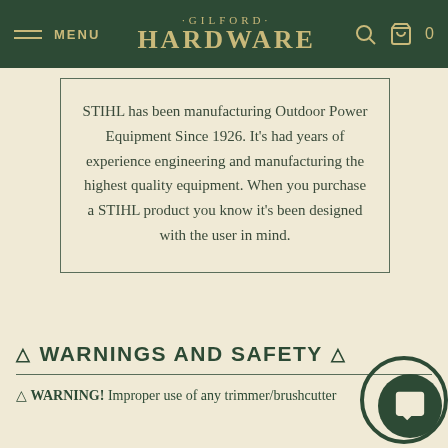MENU · GILFORD HARDWARE · 0
STIHL has been manufacturing Outdoor Power Equipment Since 1926. It's had years of experience engineering and manufacturing the highest quality equipment. When you purchase a STIHL product you know it's been designed with the user in mind.
⚠ WARNINGS AND SAFETY ⚠
⚠ WARNING! Improper use of any trimmer/brushcutter